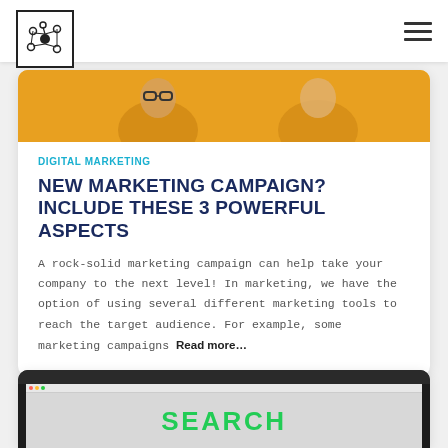Logo and navigation header
[Figure (photo): Partial image strip showing orange/yellow background with partial view of a person with glasses]
DIGITAL MARKETING
NEW MARKETING CAMPAIGN? INCLUDE THESE 3 POWERFUL ASPECTS
A rock-solid marketing campaign can help take your company to the next level! In marketing, we have the option of using several different marketing tools to reach the target audience. For example, some marketing campaigns Read more…
[Figure (screenshot): Bottom of page showing a dark laptop frame with a screen showing a webpage, with green text spelling SEARCH partially visible]